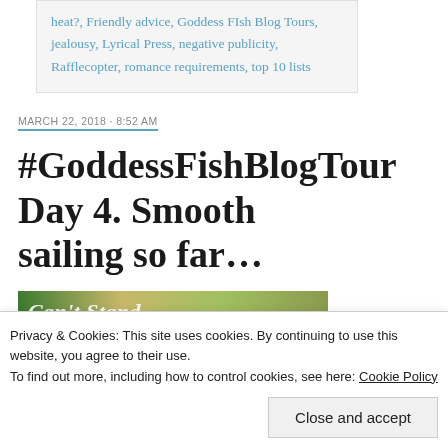heat?, Friendly advice, Goddess FIsh Blog Tours, jealousy, Lyrical Press, negative publicity, Rafflecopter, romance requirements, top 10 lists
MARCH 22, 2018 · 8:52 AM
#GoddessFishBlogTour Day 4. Smooth sailing so far…
[Figure (photo): Book cover image strip showing partial text and green/gold background colors]
Privacy & Cookies: This site uses cookies. By continuing to use this website, you agree to their use.
To find out more, including how to control cookies, see here: Cookie Policy
Close and accept